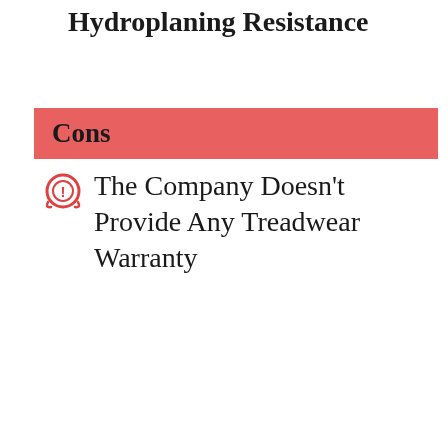Phenomenal Wet Traction and Hydroplaning Resistance
Cons
The Company Doesn't Provide Any Treadwear Warranty
CHECK PRICE NOW